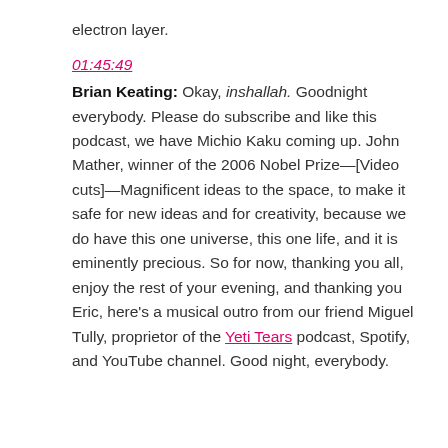electron layer.
01:45:49
Brian Keating: Okay, inshallah. Goodnight everybody. Please do subscribe and like this podcast, we have Michio Kaku coming up. John Mather, winner of the 2006 Nobel Prize—[Video cuts]—Magnificent ideas to the space, to make it safe for new ideas and for creativity, because we do have this one universe, this one life, and it is eminently precious. So for now, thanking you all, enjoy the rest of your evening, and thanking you Eric, here's a musical outro from our friend Miguel Tully, proprietor of the Yeti Tears podcast, Spotify, and YouTube channel. Good night, everybody.